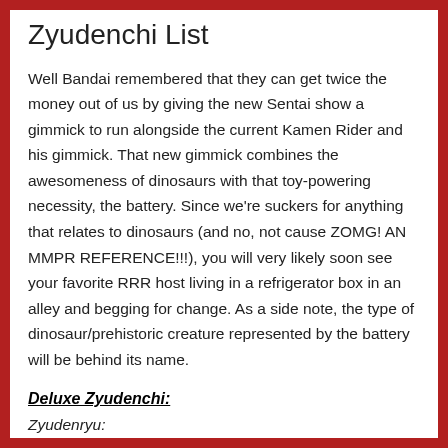Zyudenchi List
Well Bandai remembered that they can get twice the money out of us by giving the new Sentai show a gimmick to run alongside the current Kamen Rider and his gimmick. That new gimmick combines the awesomeness of dinosaurs with that toy-powering necessity, the battery. Since we're suckers for anything that relates to dinosaurs (and no, not cause ZOMG! AN MMPR REFERENCE!!!), you will very likely soon see your favorite RRR host living in a refrigerator box in an alley and begging for change. As a side note, the type of dinosaur/prehistoric creature represented by the battery will be behind its name.
Deluxe Zyudenchi:
Zyudenryu: